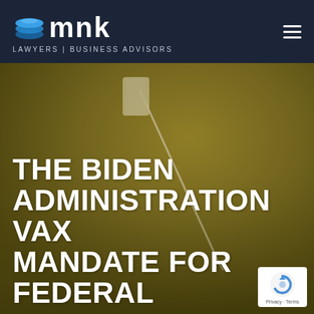[Figure (logo): MNK Lawyers Business Advisors logo with stacked disc icon and text on dark navy header bar]
[Figure (photo): Hero image showing a syringe/needle on a golden-yellow background, serving as the background for an article about the Biden Administration vaccine mandate for federal workers. Large white bold uppercase text overlaid: THE BIDEN ADMINISTRATION VAX MANDATE FOR FEDERAL. A reCAPTCHA badge is visible in the lower right corner.]
THE BIDEN ADMINISTRATION VAX MANDATE FOR FEDERAL